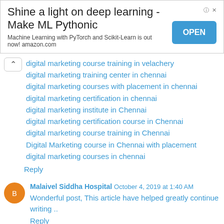[Figure (screenshot): Advertisement banner: 'Shine a light on deep learning - Make ML Pythonic' with OPEN button. Machine Learning with PyTorch and Scikit-Learn is out now! amazon.com]
digital marketing course training in velachery
digital marketing training center in chennai
digital marketing courses with placement in chennai
digital marketing certification in chennai
digital marketing institute in Chennai
digital marketing certification course in Chennai
digital marketing course training in Chennai
Digital Marketing course in Chennai with placement
digital marketing courses in chennai
Reply
Malaivel Siddha Hospital October 4, 2019 at 1:40 AM
Wonderful post, This article have helped greatly continue writing ..
Reply